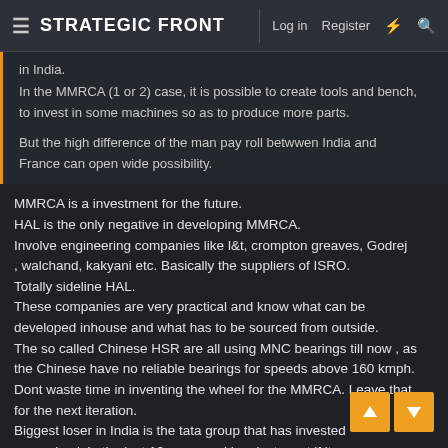STRATEGIC FRONT | Log in | Register
in India.
In the MMRCA (1 or 2) case, it is possible to create tools and bench, to invest in some machines so as to produce more parts.

But the high difference of the man pay roll betwwen India and France can open wide possibility.
MMRCA is a investment for the future.
HAL is the only negative in developing MMRCA.
Involve engineering companies like l&t, crompton greaves, Godrej , walchand, kakyani etc. Basically the suppliers of ISRO.
Totally sideline HAL.
These companies are very practical and know what can be developed inhouse and what has to be sourced from outside.
The so called Chinese HSR are all using MNC bearings till now , as the Chinese have no reliable bearings for speeds above 160 kmph.
Dont waste time in inventing the wheel for the MMRCA. Leave that for the next iteration.
Biggest loser in India is the tata group that has invested 150000 crores in uk in the last 12 years and has lost most if it. This is the worst head tata has ever had.